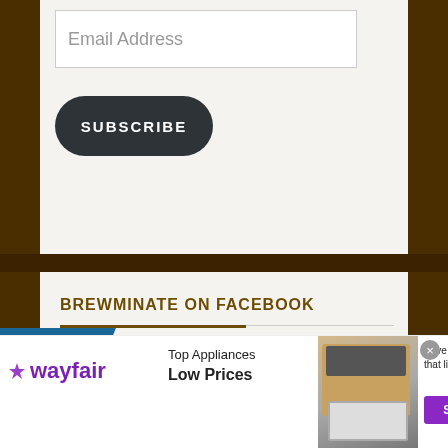Email Address
[Figure (screenshot): SUBSCRIBE button — dark rounded rectangle with white bold uppercase text]
BREWMINATE ON FACEBOOK
[Figure (screenshot): Wayfair advertisement banner: Top Appliances Low Prices, Save on best selling brands that live up to the hype, Shop now button, appliance image]
[Figure (logo): infolinks badge in blue diagonal banner]